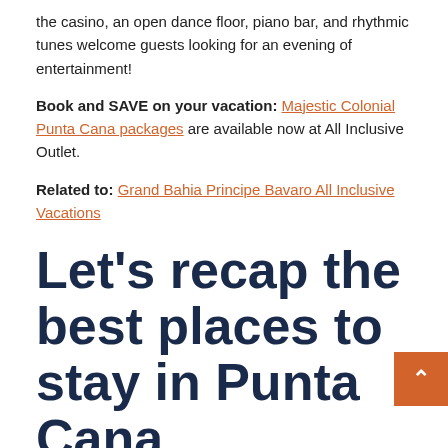the casino, an open dance floor, piano bar, and rhythmic tunes welcome guests looking for an evening of entertainment!
Book and SAVE on your vacation: Majestic Colonial Punta Cana packages are available now at All Inclusive Outlet.
Related to: Grand Bahia Principe Bavaro All Inclusive Vacations
Let's recap the best places to stay in Punta Cana
Your next all inclusive beach getaway is waiting for you and Punta Cana, Dominican Republic is ready to provide with the trip of a lifetime. Visit All Inclusive Outlet today to